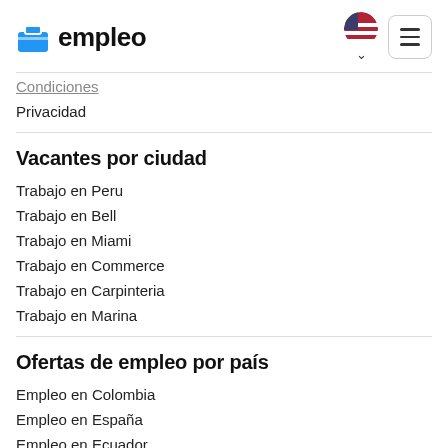empleo
Condiciones
Privacidad
Vacantes por ciudad
Trabajo en Peru
Trabajo en Bell
Trabajo en Miami
Trabajo en Commerce
Trabajo en Carpinteria
Trabajo en Marina
Ofertas de empleo por país
Empleo en Colombia
Empleo en España
Empleo en Ecuador
Empleo en Honduras